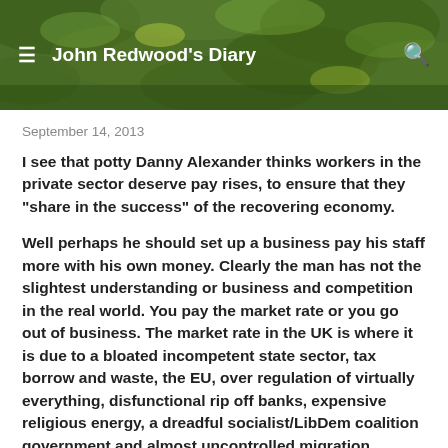John Redwood's Diary
September 14, 2013
I see that potty Danny Alexander thinks workers in the private sector deserve pay rises, to ensure that they “share in the success” of the recovering economy.
Well perhaps he should set up a business pay his staff more with his own money. Clearly the man has not the slightest understanding or business and competition in the real world. You pay the market rate or you go out of business. The market rate in the UK is where it is due to a bloated incompetent state sector, tax borrow and waste, the EU, over regulation of virtually everything, disfunctional rip off banks, expensive religious energy, a dreadful socialist/LibDem coalition government and almost uncontrolled migration.